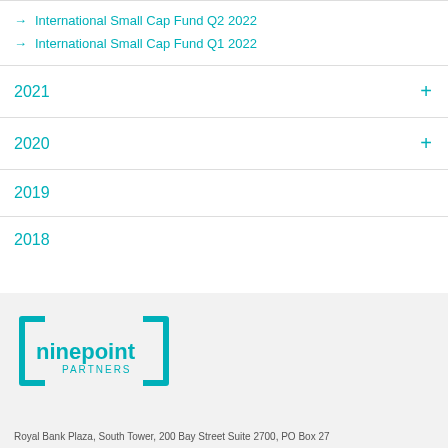→ International Small Cap Fund Q2 2022
→ International Small Cap Fund Q1 2022
2021
2020
2019
2018
[Figure (logo): Ninepoint Partners logo — teal square bracket frame with 'ninepoint' in bold and 'PARTNERS' below]
Royal Bank Plaza, South Tower, 200 Bay Street Suite 2700, PO Box 27